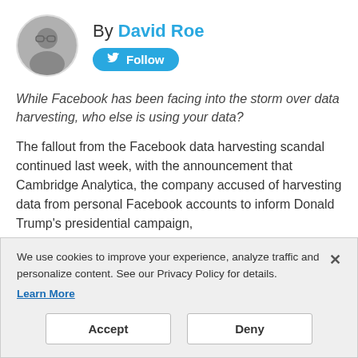[Figure (photo): Circular black and white profile photo of David Roe, a man wearing glasses]
By David Roe
Follow (Twitter button)
While Facebook has been facing into the storm over data harvesting, who else is using your data?
The fallout from the Facebook data harvesting scandal continued last week, with the announcement that Cambridge Analytica, the company accused of harvesting data from personal Facebook accounts to inform Donald Trump's presidential campaign,
We use cookies to improve your experience, analyze traffic and personalize content. See our Privacy Policy for details.
Learn More
Accept
Deny